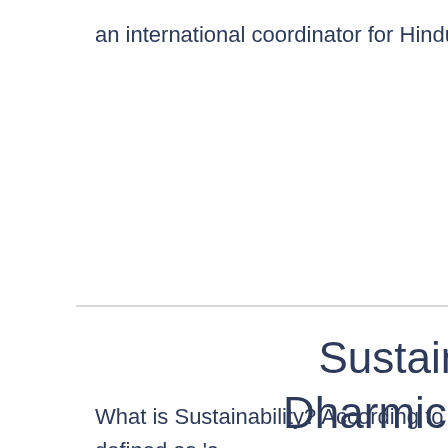an international coordinator for Hindu Swayamsevak Sangh.
Sustainability – A Dharmic Perspective
What is Sustainability? According to the UN, sustainability is defined as 'a